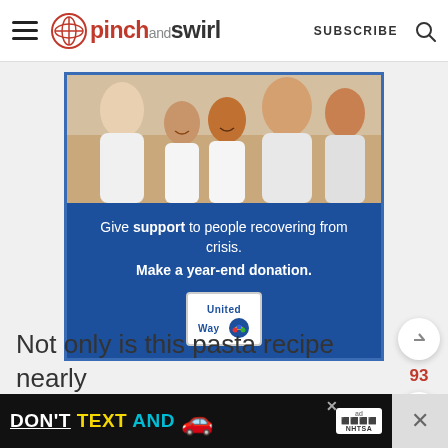pinch and swirl — SUBSCRIBE
[Figure (photo): United Way advertisement banner. Top half shows a smiling family in white clothing. Bottom half has blue background with text: Give support to people recovering from crisis. Make a year-end donation. United Way logo shown.]
Not only is this pasta recipe nearly
[Figure (screenshot): Bottom banner ad: DON'T TEXT AND [car emoji] with ad badge and NHTSA logo on black background. Close button X on right.]